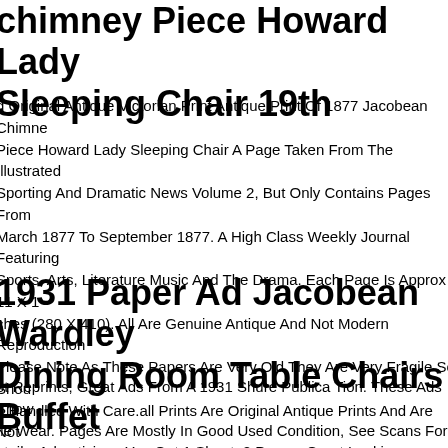chimney Piece Howard Lady Sleeping Chair 19th
d Original Antique Victorian Print Antique Print Of 1877 Jacobean Chimney Piece Howard Lady Sleeping Chair A Page Taken From The Illustrated Sporting And Dramatic News Volume 2, But Only Contains Pages From March 1877 To September 1877. A High Class Weekly Journal Featuring Sports, Arts, Literature Music And The Drama. Each Page Is Approx 11 X 16 inches (280 X 410). All Are Genuine Antique And Not Modern Reproductions. Please Note As These Papers Are Very Old They Are Very Fragile So Should Be Handled With Care.all Prints Are Original Antique Prints And Are Not Copies. Many Are Unique And Rare. All Products Are Delivered Securely In Reinforced Hard Back Envelope Or A Postal Tube.
1931 Paper Ad Jacobean Wardley Dining Room Table Chairs Buffet
ot Reprints, Great Ads From A 1931 Shure Publica Tion. These Ads Show Little Wear. Pages Are Mostly In Good Used Condition, See Scans For Details. Advertising . You Get 1 Sheet, 2 Pages. Great Looking Original Paper.